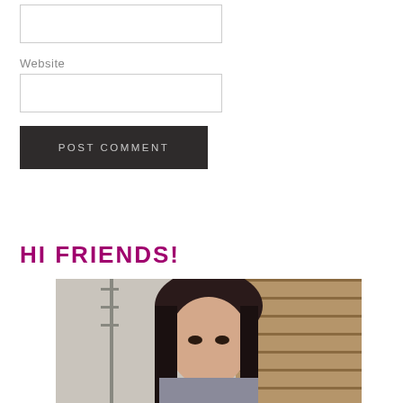Website
POST COMMENT
HI FRIENDS!
[Figure (photo): A woman with dark hair photographed outdoors near a wooden wall and stone wall, partial view cropped at bottom of page]